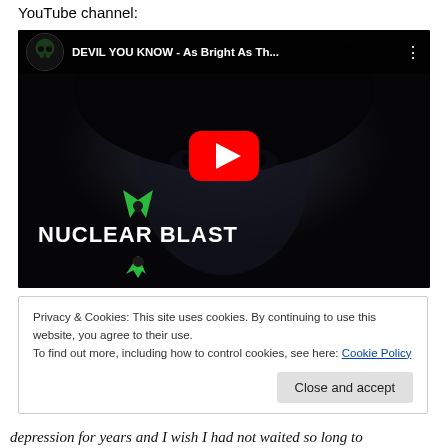YouTube channel:
[Figure (screenshot): Embedded YouTube video thumbnail for 'DEVIL YOU KNOW - As Bright As Th...' on the Nuclear Blast channel. Dark moody image of a hooded figure, with a red YouTube play button in the center and the Nuclear Blast logo (green radioactive symbol + white text) at the bottom left.]
Privacy & Cookies: This site uses cookies. By continuing to use this website, you agree to their use.
To find out more, including how to control cookies, see here: Cookie Policy
[Close and accept button]
depression for years and I wish I had not waited so long to